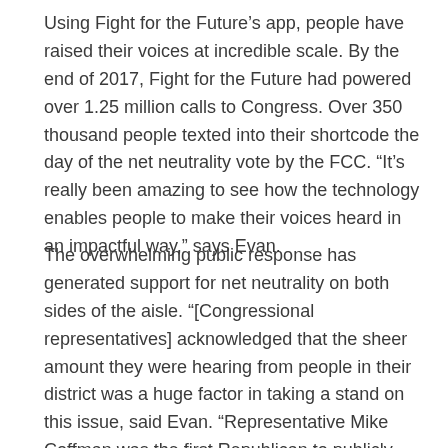Using Fight for the Future’s app, people have raised their voices at incredible scale. By the end of 2017, Fight for the Future had powered over 1.25 million calls to Congress. Over 350 thousand people texted into their shortcode the day of the net neutrality vote by the FCC. “It’s really been amazing to see how the technology enables people to make their voices heard in an impactful way,” says Evan.
The overwhelming public response has generated support for net neutrality on both sides of the aisle. “[Congressional representatives] acknowledged that the sheer amount they were hearing from people in their district was a huge factor in taking a stand on this issue, said Evan. “Representative Mike Coffman was the first Republican to publicly call for the FCC to cancel their vote [on net neutrality], and his statement